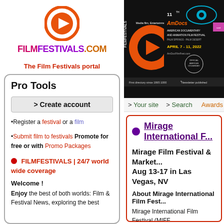[Figure (logo): FilmFestivals.com logo with orange circle play button icon]
FILMFESTIVALS.COM
The Film Festivals portal
[Figure (photo): 11th AmDocs American Documentary and Animation Film Festival banner, April 7-11 2022, Palm Springs Palm Desert, AmDocFilmFest.com. First directory since 1995, 1000th Newsletter published.]
> Your site  > Search  Awards  Fes...
Pro Tools
> Create account
•Register a festival or a film
•Submit film to festivals Promote for free or with Promo Packages
FILMFESTIVALS | 24/7 world wide coverage
Welcome !
Enjoy the best of both worlds: Film & Festival News, exploring the best...
Mirage International F...
Mirage Film Festival & Market... Aug 13-17 in Las Vegas, NV
About Mirage International Film Fest... Mirage International Film Festival (MIFF... event for independent filmmakers world... present their films to audiences, industr... around the globe. In order to best achie... immersive, high energy environment tha... both...